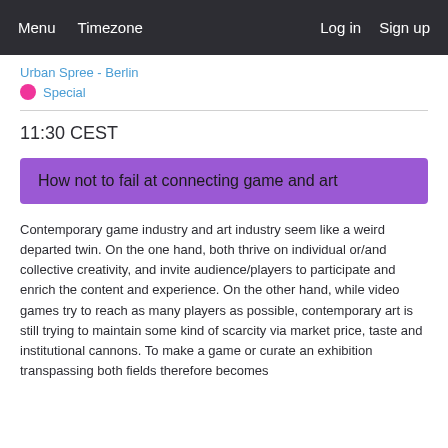Menu  Timezone  Log in  Sign up
Urban Spree - Berlin
Special
11:30 CEST
How not to fail at connecting game and art
Contemporary game industry and art industry seem like a weird departed twin. On the one hand, both thrive on individual or/and collective creativity, and invite audience/players to participate and enrich the content and experience. On the other hand, while video games try to reach as many players as possible, contemporary art is still trying to maintain some kind of scarcity via market price, taste and institutional cannons. To make a game or curate an exhibition transpassing both fields therefore becomes